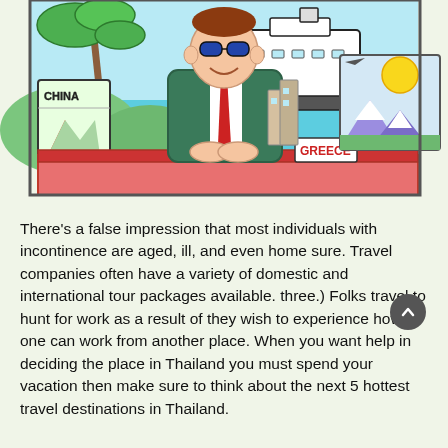[Figure (illustration): Cartoon illustration of a smiling travel agent with sunglasses sitting at a desk. Behind him is a cruise ship on blue water, palm trees, and green hills. On his desk are travel brochures labeled 'CHINA' and 'GREECE', along with city/mountain travel images.]
There's a false impression that most individuals with incontinence are aged, ill, and even home sure. Travel companies often have a variety of domestic and international tour packages available. three.) Folks travel to hunt for work as a result of they wish to experience how one can work from another place. When you want help in deciding the place in Thailand you must spend your vacation then make sure to think about the next 5 hottest travel destinations in Thailand.